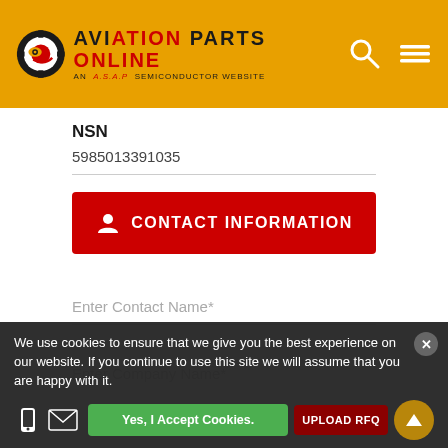[Figure (logo): Aviation Parts Online logo with gear/cog icon on golden/amber header background, with search and menu icons on the right]
NSN
5985013391035
CONTACT INFORMATION
Enter Contact Name*
Enter Company Name*
We use cookies to ensure that we give you the best experience on our website. If you continue to use this site we will assume that you are happy with it.
Yes, I Accept Cookies.
UPLOAD RFQ